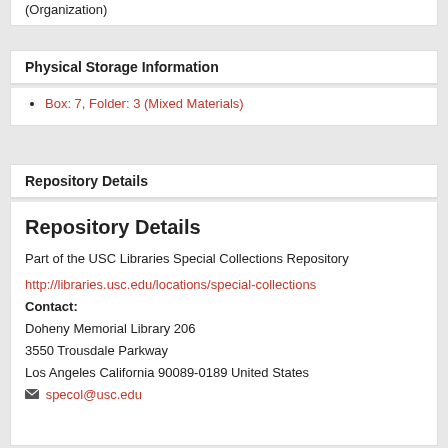(Organization)
Physical Storage Information
Box: 7, Folder: 3 (Mixed Materials)
Repository Details
Repository Details
Part of the USC Libraries Special Collections Repository
http://libraries.usc.edu/locations/special-collections
Contact:
Doheny Memorial Library 206
3550 Trousdale Parkway
Los Angeles California 90089-0189 United States
specol@usc.edu